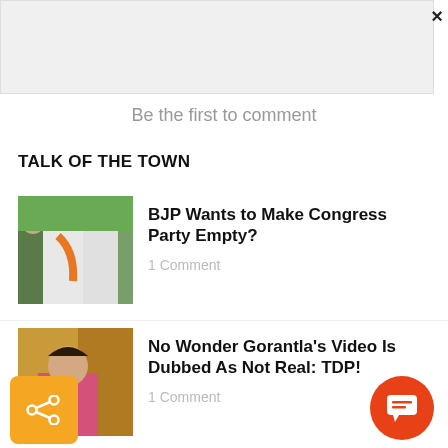[Figure (screenshot): Advertisement bar with close button (×)]
Be the first to comment
TALK OF THE TOWN
[Figure (photo): Photo of politicians in white clothing with BJP flag/sash]
BJP Wants to Make Congress Party Empty?
1 Comment
[Figure (photo): Photo of woman in pink saree speaking at a podium]
No Wonder Gorantla's Video Is Dubbed As Not Real: TDP!
1 Comment